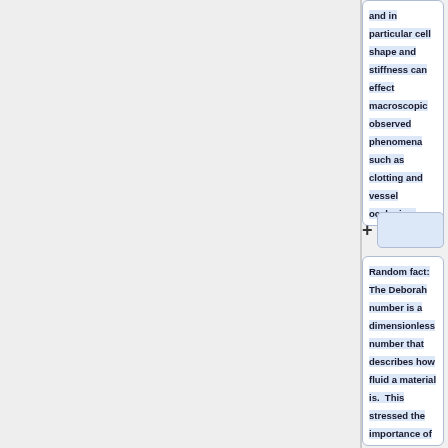and in particular cell shape and stiffness can effect macroscopic observed phenomena such as clotting and vessel occlusion.
Random fact: The Deborah number is a dimensionless number that describes how fluid a material is. This stressed the importance of